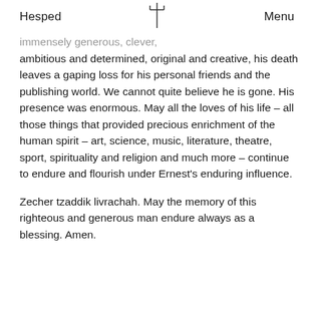Hesped   Menu
immensely generous, clever, ambitious and determined, original and creative, his death leaves a gaping loss for his personal friends and the publishing world. We cannot quite believe he is gone. His presence was enormous. May all the loves of his life – all those things that provided precious enrichment of the human spirit – art, science, music, literature, theatre, sport, spirituality and religion and much more – continue to endure and flourish under Ernest's enduring influence.
Zecher tzaddik livrachah. May the memory of this righteous and generous man endure always as a blessing. Amen.